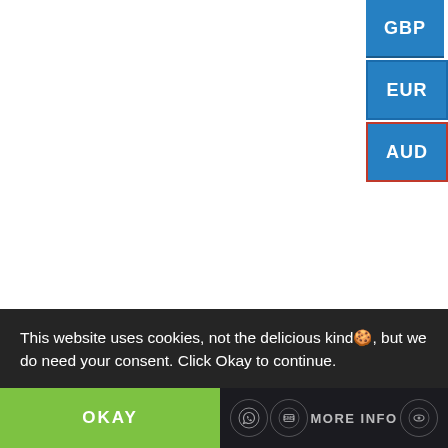[Figure (screenshot): Three currency selector buttons (GBP, EUR, AUD) stacked vertically in the top-right corner, styled in blue with white text]
This website uses cookies, not the delicious kind🍪, but we do need your consent. Click Okay to continue.
OKAY
MORE INFO